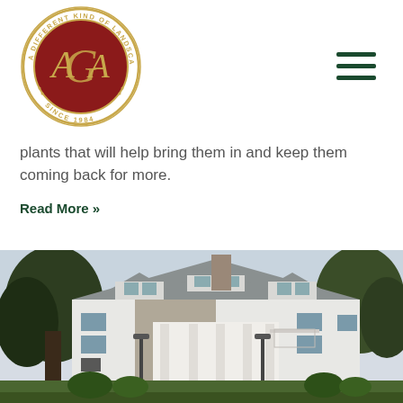[Figure (logo): Circular logo for 'A Different Kind of Landscape Contractor - Since 1984' with gold monogram letters AGA on a dark red background]
plants that will help bring them in and keep them coming back for more.
Read More »
[Figure (photo): Photo of a large white colonial/stone mansion with dormers, surrounded by trees and landscaping]